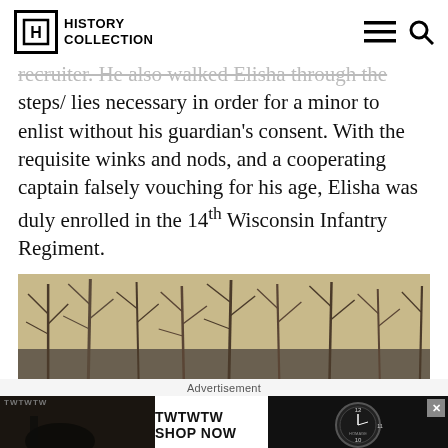History Collection
recruiter. He also walked Elisha through the steps/ lies necessary in order for a minor to enlist without his guardian's consent. With the requisite winks and nods, and a cooperating captain falsely vouching for his age, Elisha was duly enrolled in the 14th Wisconsin Infantry Regiment.
[Figure (photo): Sepia-toned historical illustration showing bare winter trees in a forest scene]
Advertisement
[Figure (photo): Advertisement banner: TWTWTW SHOP NOW with a watch image (HOMAGE brand), with close button]